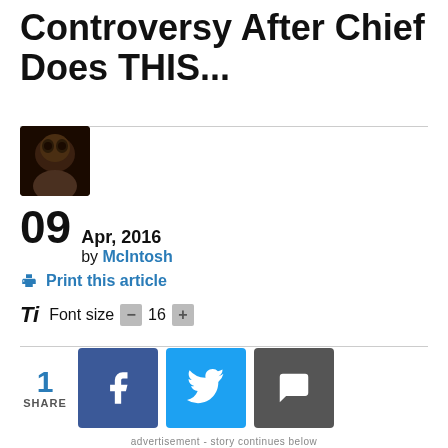Controversy After Chief Does THIS...
09 Apr, 2016 by McIntosh
Print this article
Ti Font size - 16 +
1 SHARE
[Figure (photo): Dinosaur statue silhouette against purple sky with trees in background]
advertisement - story continues below